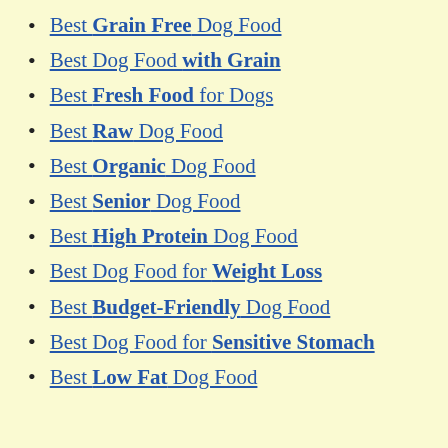Best Grain Free Dog Food
Best Dog Food with Grain
Best Fresh Food for Dogs
Best Raw Dog Food
Best Organic Dog Food
Best Senior Dog Food
Best High Protein Dog Food
Best Dog Food for Weight Loss
Best Budget-Friendly Dog Food
Best Dog Food for Sensitive Stomach
Best Low Fat Dog Food